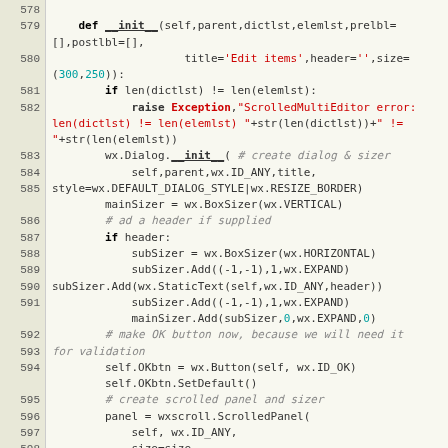[Figure (screenshot): Python source code snippet showing lines 578–602, defining a ScrolledMultiEditor dialog class __init__ method with wx widgets. Code displayed with syntax highlighting on a light background with line numbers in a tan/olive gutter.]